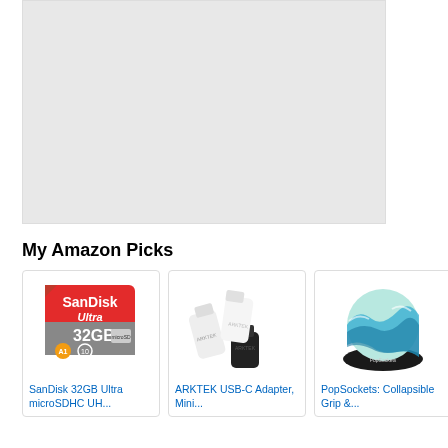[Figure (other): Large light gray placeholder image area at top of page]
My Amazon Picks
[Figure (photo): SanDisk 32GB Ultra microSDHC UHS-I memory card product photo]
SanDisk 32GB Ultra microSDHC UH...
[Figure (photo): ARKTEK USB-C Adapter Mini product photo showing white and black USB-C adapters]
ARKTEK USB-C Adapter, Mini...
[Figure (photo): PopSockets Collapsible Grip product photo showing ocean wave design]
PopSockets: Collapsible Grip &...